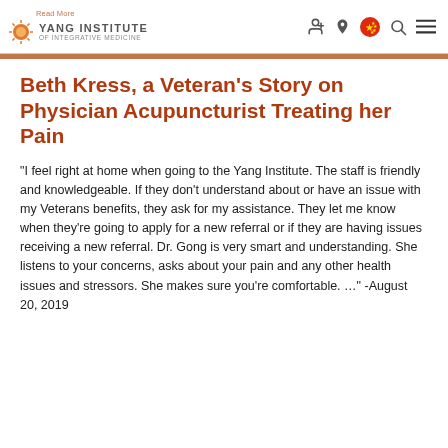Read More | Yang Institute of Integrative Medicine
Beth Kress, a Veteran’s Story on Physician Acupuncturist Treating her Pain
“I feel right at home when going to the Yang Institute. The staff is friendly and knowledgeable. If they don’t understand about or have an issue with my Veterans benefits, they ask for my assistance. They let me know when they’re going to apply for a new referral or if they are having issues receiving a new referral. Dr. Gong is very smart and understanding. She listens to your concerns, asks about your pain and any other health issues and stressors. She makes sure you’re comfortable. …” -August 20, 2019